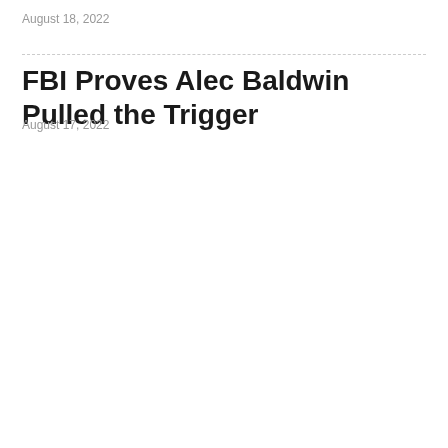August 18, 2022
FBI Proves Alec Baldwin Pulled the Trigger
August 17, 2022